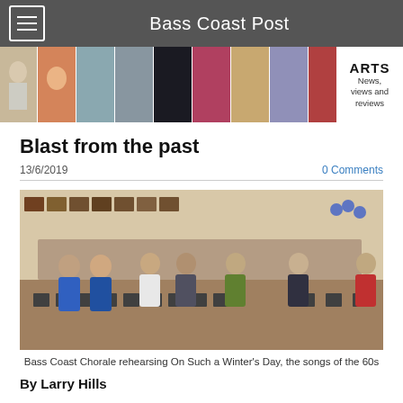Bass Coast Post
[Figure (photo): Arts section banner with multiple photo thumbnails of arts events and performances. Text reads: ARTS News, views and reviews]
Blast from the past
13/6/2019
0 Comments
[Figure (photo): Bass Coast Chorale group photo rehearsing in a hall with artwork on the walls and blue balloons in background]
Bass Coast Chorale rehearsing On Such a Winter's Day, the songs of the 60s
By Larry Hills